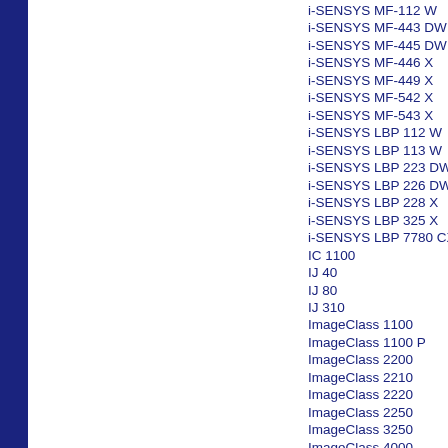i-SENSYS MF-443 DW
i-SENSYS MF-445 DW
i-SENSYS MF-446 X
i-SENSYS MF-449 X
i-SENSYS MF-542 X
i-SENSYS MF-543 X
i-SENSYS LBP 112 W
i-SENSYS LBP 113 W
i-SENSYS LBP 223 DW
i-SENSYS LBP 226 DW
i-SENSYS LBP 228 X
i-SENSYS LBP 325 X
i-SENSYS LBP 7780 CX
IC 1100
IJ 40
IJ 80
IJ 310
ImageClass 1100
ImageClass 1100 P
ImageClass 2200
ImageClass 2210
ImageClass 2220
ImageClass 2250
ImageClass 3250
ImageClass 4000